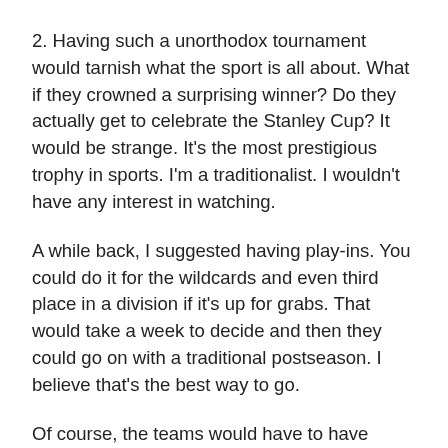2. Having such a unorthodox tournament would tarnish what the sport is all about. What if they crowned a surprising winner? Do they actually get to celebrate the Stanley Cup? It would be strange. It's the most prestigious trophy in sports. I'm a traditionalist. I wouldn't have any interest in watching.
A while back, I suggested having play-ins. You could do it for the wildcards and even third place in a division if it's up for grabs. That would take a week to decide and then they could go on with a traditional postseason. I believe that's the best way to go.
Of course, the teams would have to have training camps to get the players back in shape. With locations limited, that creates a speed bump. If they did complete the year, you could have a normal off-season with NHL Draft lottery...